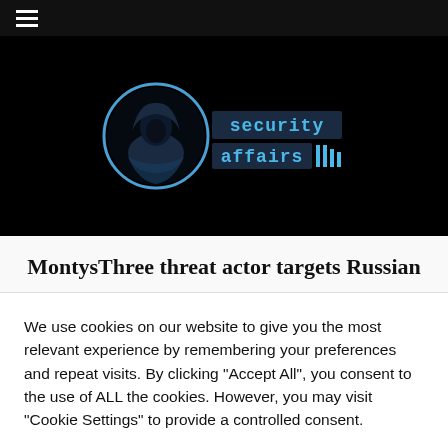≡ (hamburger menu)
[Figure (logo): Security Affairs website logo: hooded figure silhouette in a blue circular frame, beside stylized blue text 'security affairs' with vertical bars motif]
MontysThree threat actor targets Russian
We use cookies on our website to give you the most relevant experience by remembering your preferences and repeat visits. By clicking "Accept All", you consent to the use of ALL the cookies. However, you may visit "Cookie Settings" to provide a controlled consent.
Cookie Settings | Accept All